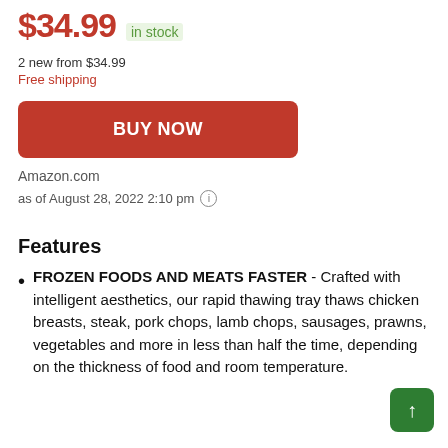$34.99 in stock
2 new from $34.99
Free shipping
BUY NOW
Amazon.com
as of August 28, 2022 2:10 pm
Features
FROZEN FOODS AND MEATS FASTER - Crafted with intelligent aesthetics, our rapid thawing tray thaws chicken breasts, steak, pork chops, lamb chops, sausages, prawns, vegetables and more in less than half the time, depending on the thickness of food and room temperature.